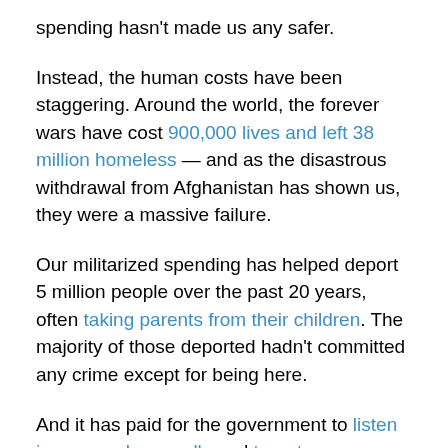spending hasn't made us any safer.
Instead, the human costs have been staggering. Around the world, the forever wars have cost 900,000 lives and left 38 million homeless — and as the disastrous withdrawal from Afghanistan has shown us, they were a massive failure.
Our militarized spending has helped deport 5 million people over the past 20 years, often taking parents from their children. The majority of those deported hadn't committed any crime except for being here.
And it has paid for the government to listen in on our phone calls and target communities for harassment and surveillance without any evidence of crime or wrongdoing, eroding the civil liberties of all Americans.